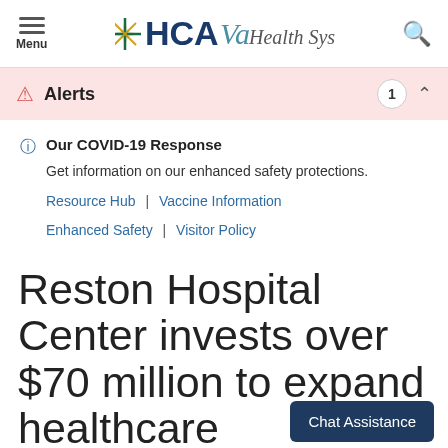HCA Va Health System
Alerts 1
Our COVID-19 Response
Get information on our enhanced safety protections.
Resource Hub | Vaccine Information
Enhanced Safety | Visitor Policy
Reston Hospital Center invests over $70 million to expand healthcare